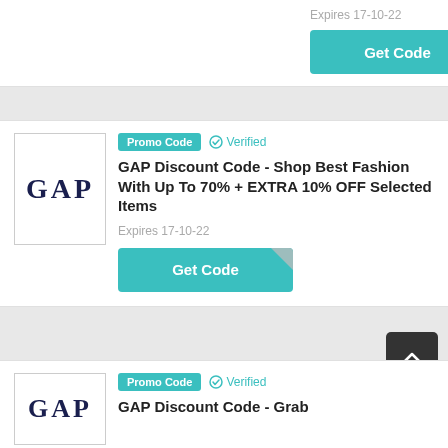Expires 17-10-22
[Figure (other): Get Code button in teal with folded corner]
Promo Code  ✓ Verified
GAP Discount Code - Shop Best Fashion With Up To 70% + EXTRA 10% OFF Selected Items
Expires 17-10-22
[Figure (other): Get Code button in teal with folded corner]
[Figure (logo): GAP logo in dark navy serif font]
Promo Code  ✓ Verified
GAP Discount Code - Grab